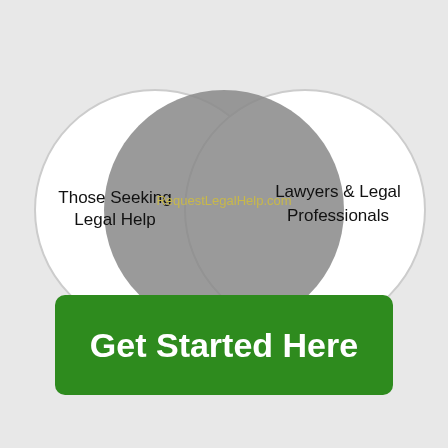[Figure (infographic): Venn diagram showing three overlapping circles. Left circle (white with gray border) labeled 'Those Seeking Legal Help'. Center circle (gray filled) labeled 'RequestLegalHelp.com' in olive/gold text. Right circle (white with gray border) labeled 'Lawyers & Legal Professionals'.]
Get Started Here